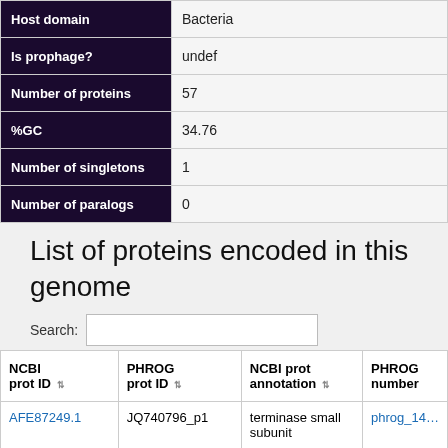| Field | Value |
| --- | --- |
| Host domain | Bacteria |
| Is prophage? | undef |
| Number of proteins | 57 |
| %GC | 34.76 |
| Number of singletons | 1 |
| Number of paralogs | 0 |
List of proteins encoded in this genome
| NCBI prot ID | PHROG prot ID | NCBI prot annotation | PHROG number |
| --- | --- | --- | --- |
| AFE87249.1 | JQ740796_p1 | terminase small subunit | phrog_14... |